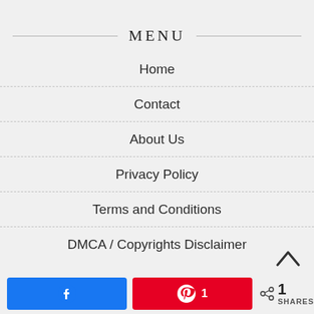MENU
Home
Contact
About Us
Privacy Policy
Terms and Conditions
DMCA / Copyrights Disclaimer
1 SHARES (Facebook share button, Pinterest share button with count 1)